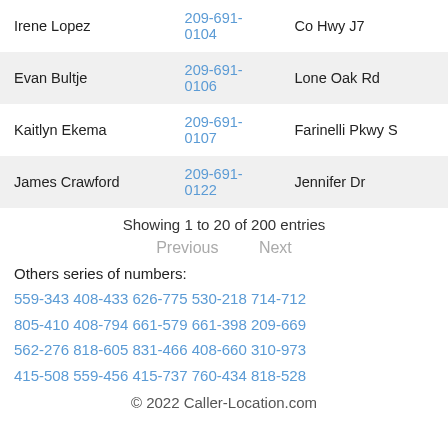| Name | Phone | Address |
| --- | --- | --- |
| Irene Lopez | 209-691-0104 | Co Hwy J7 |
| Evan Bultje | 209-691-0106 | Lone Oak Rd |
| Kaitlyn Ekema | 209-691-0107 | Farinelli Pkwy S |
| James Crawford | 209-691-0122 | Jennifer Dr |
Showing 1 to 20 of 200 entries
Previous   Next
Others series of numbers:
559-343  408-433  626-775  530-218  714-712  805-410  408-794  661-579  661-398  209-669  562-276  818-605  831-466  408-660  310-973  415-508  559-456  415-737  760-434  818-528
© 2022 Caller-Location.com